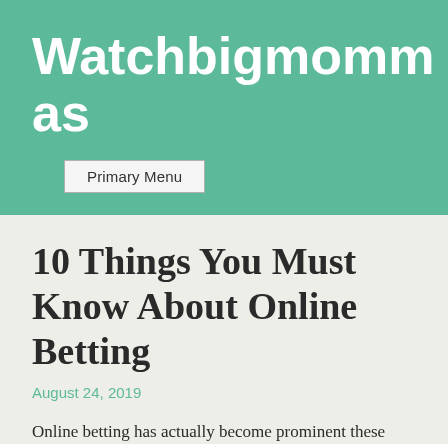Watchbigmommas
Primary Menu
10 Things You Must Know About Online Betting
August 24, 2019
Online betting has actually become prominent these